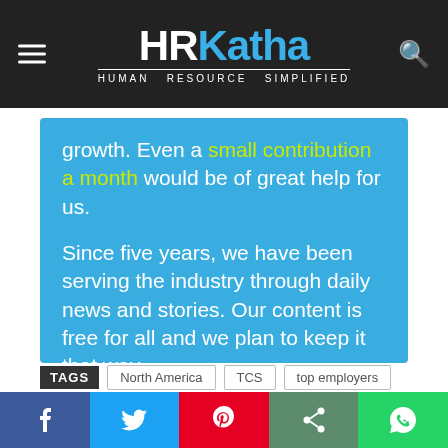HRKatha — HUMAN RESOURCE SIMPLIFIED
growth. Even a small contribution a month would be of great help for us.

Since five years, we have been serving the industry through daily news and stories. Our content is free for all and we plan to keep it that way.

Support HRKatha. Pay Here (All it takes is a minute)
TAGS  North America  TCS  top employers
[Figure (infographic): Social share bar with Facebook, Twitter, Pinterest, Share, and WhatsApp buttons]